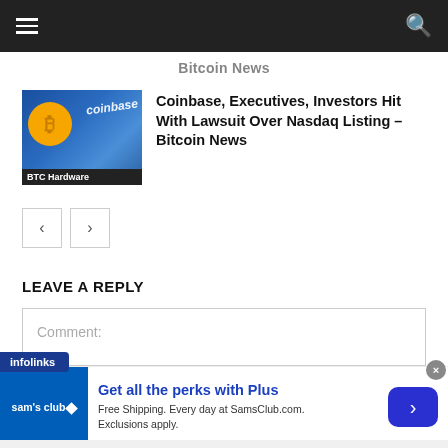Bitcoin News
[Figure (photo): Coinbase branded image with bitcoin coin and blue background, labeled BTC Hardware]
Coinbase, Executives, Investors Hit With Lawsuit Over Nasdaq Listing – Bitcoin News
LEAVE A REPLY
Comment:
[Figure (infographic): Sam's Club advertisement: Get all the perks with Plus. Free Shipping. Every day at SamsClub.com. Exclusions apply.]